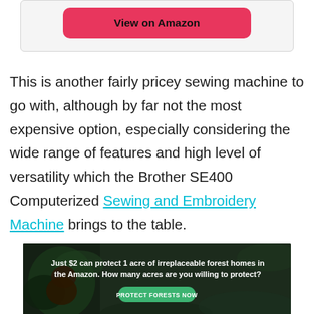[Figure (other): Pink/red rounded button labeled 'View on Amazon' inside a light grey card]
This is another fairly pricey sewing machine to go with, although by far not the most expensive option, especially considering the wide range of features and high level of versatility which the Brother SE400 Computerized Sewing and Embroidery Machine brings to the table.
[Figure (photo): Advertisement banner: forest/Amazon rainforest image with text 'Just $2 can protect 1 acre of irreplaceable forest homes in the Amazon. How many acres are you willing to protect?' and a green 'PROTECT FORESTS NOW' button]
×